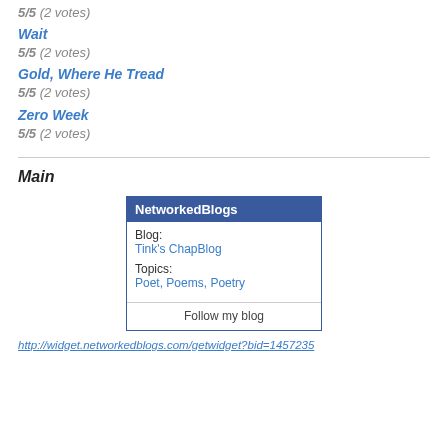5/5 (2 votes)
Wait
5/5 (2 votes)
Gold, Where He Tread
5/5 (2 votes)
Zero Week
5/5 (2 votes)
Main
[Figure (other): NetworkedBlogs widget showing Blog: Tink's ChapBlog, Topics: Poet, Poems, Poetry, with a Follow my blog button]
http://widget.networkedblogs.com/getwidget?bid=1457235